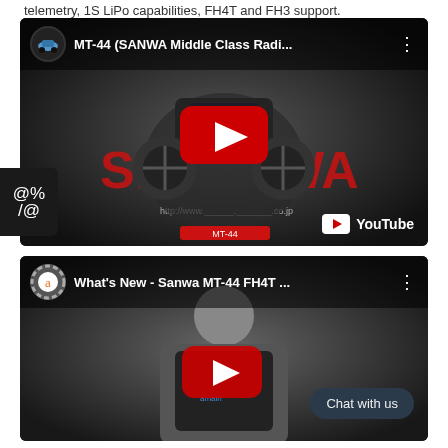telemetry, 1S LiPo capabilities, FH4T and FH3 support.
[Figure (screenshot): YouTube video thumbnail for MT-44 (SANWA Middle Class Radi...) showing a Sanwa MT-44 radio controller on a dark background with SANWA logo, YouTube play button overlay, and YouTube branding in the bottom right.]
[Figure (screenshot): YouTube video thumbnail for What's New - Sanwa MT-44 FH4T ... showing a man in a black shirt on a dark background with amain Hobbies channel logo, YouTube play button overlay, and a Chat with us button in the bottom right.]